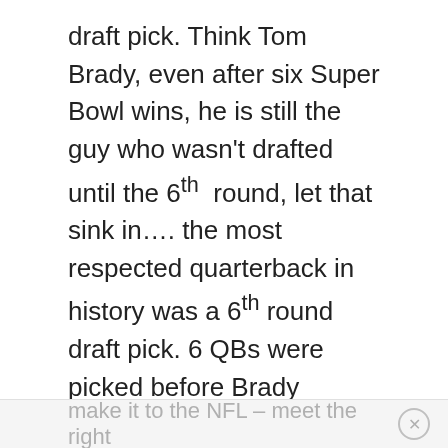draft pick.  Think Tom Brady, even after six Super Bowl wins, he is still the guy who wasn't drafted until the 6th round, let that sink in…. the most respected quarterback in history was a 6th round draft pick.  6 QBs were picked before Brady (Pennington, Carmazzi, Redman, Martin, Bulger and Wynn)
In short, it all comes down to attitude and persistence. My message to all rookies and kids breaking their backs trying to
make it to the NFL – meet the right